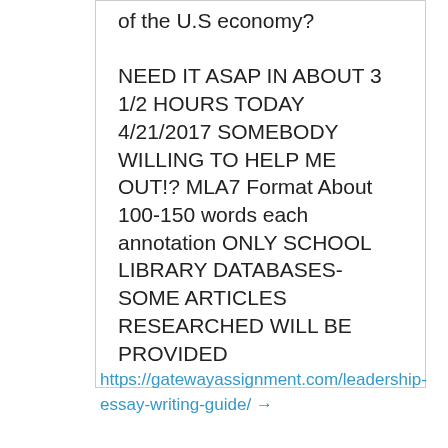of the U.S economy? NEED IT ASAP IN ABOUT 3 1/2 HOURS TODAY 4/21/2017 SOMEBODY WILLING TO HELP ME OUT!? MLA7 Format About 100-150 words each annotation ONLY SCHOOL LIBRARY DATABASES- SOME ARTICLES RESEARCHED WILL BE PROVIDED
https://gatewayassignment.com/leadership-essay-writing-guide/ →